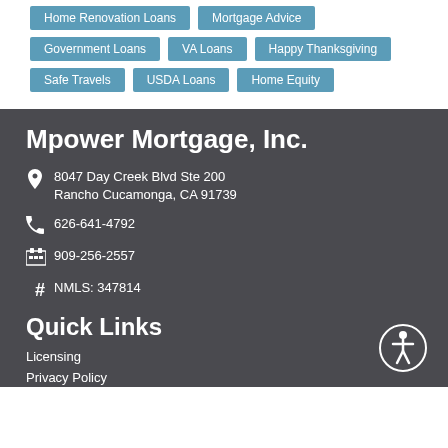Home Renovation Loans
Mortgage Advice
Government Loans
VA Loans
Happy Thanksgiving
Safe Travels
USDA Loans
Home Equity
Mpower Mortgage, Inc.
8047 Day Creek Blvd Ste 200
Rancho Cucamonga, CA 91739
626-641-4792
909-256-2557
NMLS: 347814
Quick Links
Licensing
Privacy Policy